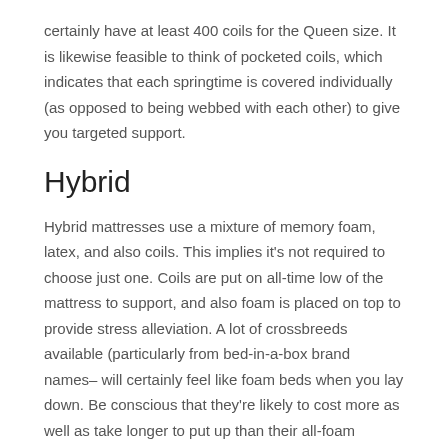certainly have at least 400 coils for the Queen size. It is likewise feasible to think of pocketed coils, which indicates that each springtime is covered individually (as opposed to being webbed with each other) to give you targeted support.
Hybrid
Hybrid mattresses use a mixture of memory foam, latex, and also coils. This implies it's not required to choose just one. Coils are put on all-time low of the mattress to support, and also foam is placed on top to provide stress alleviation. A lot of crossbreeds available (particularly from bed-in-a-box brand names– will certainly feel like foam beds when you lay down. Be conscious that they're likely to cost more as well as take longer to put up than their all-foam versions.
Adjustable